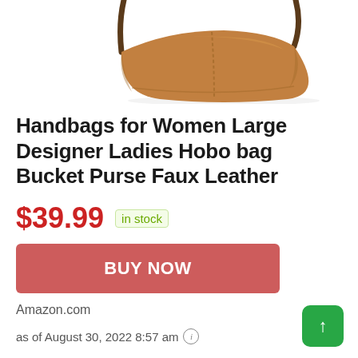[Figure (photo): Brown faux leather hobo bag / bucket purse shown from front with shoulder strap, cropped at top showing bottom portion of product on white background]
Handbags for Women Large Designer Ladies Hobo bag Bucket Purse Faux Leather
$39.99 in stock
BUY NOW
Amazon.com
as of August 30, 2022 8:57 am ℹ